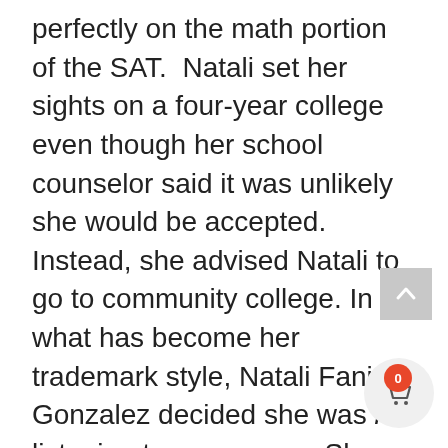perfectly on the math portion of the SAT. Natali set her sights on a four-year college even though her school counselor said it was unlikely she would be accepted. Instead, she advised Natali to go to community college. In what has become her trademark style, Natali Fani Gonzalez decided she was not listening to a naysayer. She applied to Goucher College, was accepted, and won a full scholarship, earning degrees in political science and international relations. She also served on the Goucher College Board of Trustees after she graduated. Pretty incredible for an ESOL kid who was advised to aim lower.